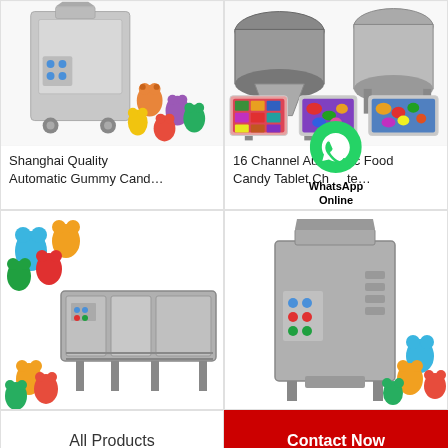[Figure (photo): Shanghai Quality Automatic Gummy Candy machine product image showing stainless steel machine with colorful gummy bears]
Shanghai Quality Automatic Gummy Cand…
[Figure (photo): 16 Channel Automatic Food Candy Tablet Chocolate machine product image with three inset candy photos and WhatsApp Online badge]
16 Channel Automatic Food Candy Tablet Cho…te…
[Figure (photo): Bottom left gummy candy machine with colorful gummy bears]
[Figure (photo): Bottom right gummy candy machine with colorful gummy bears]
All Products
Contact Now